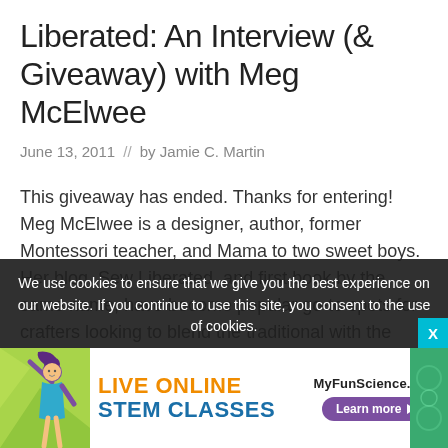Liberated: An Interview (& Giveaway) with Meg McElwee
June 13, 2011  //  by Jamie C. Martin
This giveaway has ended. Thanks for entering! Meg McElwee is a designer, author, former Montessori teacher, and Mama to two sweet boys. Her blog, Sew Liberated, and first book by the same name, have become popular go-to spots for crafters looking to blend the traditional with the modern–in...
We use cookies to ensure that we give you the best experience on our website. If you continue to use this site, you consent to the use of cookies.
[Figure (advertisement): Live Online STEM Classes ad for MyFunScience.com with a Learn more button and illustration of a person with raised arms]